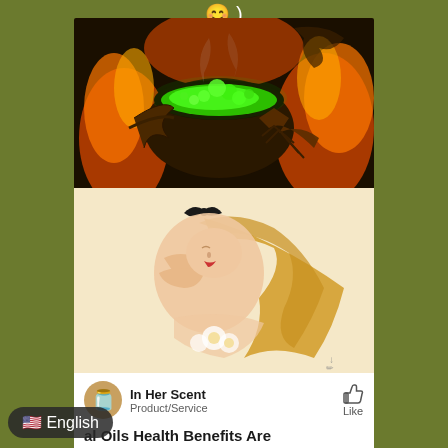😊 )
[Figure (illustration): Dark fantasy digital illustration: glowing green bubbling cauldron surrounded by fire and dark demonic hands reaching toward it]
[Figure (illustration): Art nouveau-style illustration of a blonde woman in a relaxed pose holding flowers, on a cream background, with an artist signature]
In Her Scent
Product/Service
Like
🇺🇸 English
al Oils Health Benefits Are